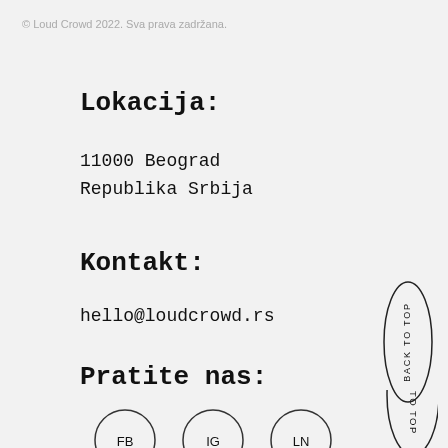© Loud Crowd 2022. Sva prava zadržana.
Lokacija:
11000 Beograd
Republika Srbija
Kontakt:
hello@loudcrowd.rs
Pratite nas:
[Figure (infographic): Three circular buttons labeled FB, IG, LN representing social media links (Facebook, Instagram, LinkedIn), and an oval button with vertical text BACK TO TOP on the right side of the page.]